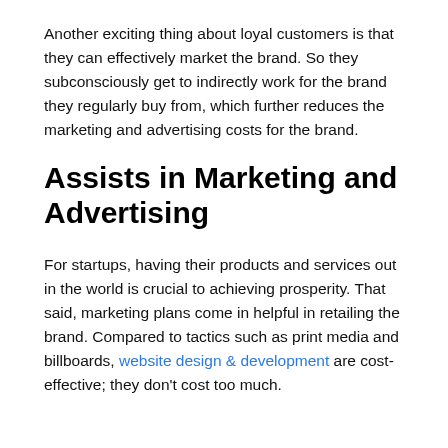Another exciting thing about loyal customers is that they can effectively market the brand. So they subconsciously get to indirectly work for the brand they regularly buy from, which further reduces the marketing and advertising costs for the brand.
Assists in Marketing and Advertising
For startups, having their products and services out in the world is crucial to achieving prosperity. That said, marketing plans come in helpful in retailing the brand. Compared to tactics such as print media and billboards, website design & development are cost-effective; they don't cost too much.